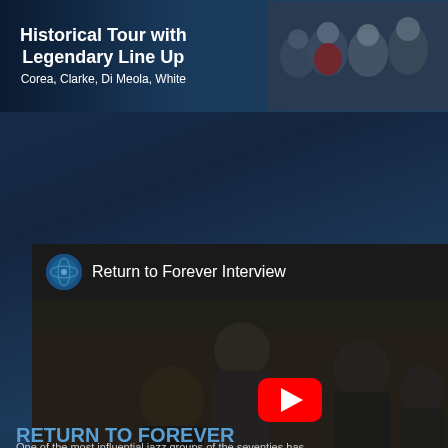[Figure (photo): Banner advertisement for Return to Forever historical tour with legendary line up. Text reads: Historical Tour with Legendary Line Up, Corea, Clarke, Di Meola, White. Shows group photo of band members on right side.]
[Figure (screenshot): YouTube video embed showing Return to Forever Interview. Video thumbnail shows multiple band members in a dark setting. Has YouTube play button overlay and Watch on YouTube button at bottom. Return to Forever channel logo shown in header.]
RETURN TO FOREVER
One of the most influential jazz groups of the seventies has...